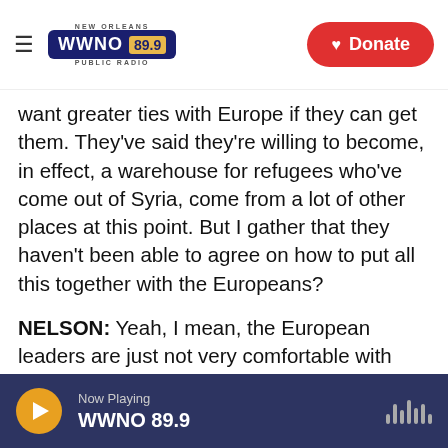NEW ORLEANS WWNO 89.9 PUBLIC RADIO | Donate
want greater ties with Europe if they can get them. They've said they're willing to become, in effect, a warehouse for refugees who've come out of Syria, come from a lot of other places at this point. But I gather that they haven't been able to agree on how to put all this together with the Europeans?
NELSON: Yeah, I mean, the European leaders are just not very comfortable with these demands. Germany and France, for example, don't think that accession talks should be linked to the refugee crisis, Germany for economic reasons and France saying, you know what? This country has been
Now Playing WWNO 89.9